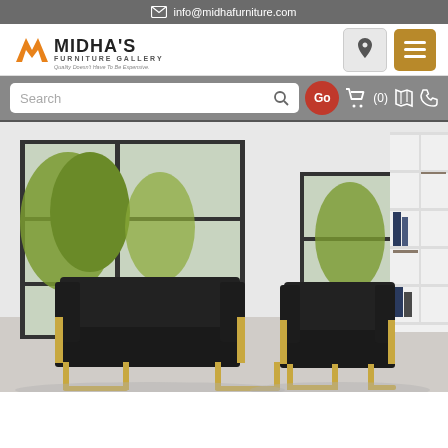info@midhafurniture.com
[Figure (logo): Midha's Furniture Gallery logo with orange M chevron and tagline 'Quality Doesn't Have To Be Expensive']
[Figure (screenshot): Website search bar with Search input, Go button, cart icon showing (0), map and phone icons on grey background]
[Figure (photo): Black velvet sofa and matching armchair with gold metal frame legs in a modern white room with large windows and white shelving unit]